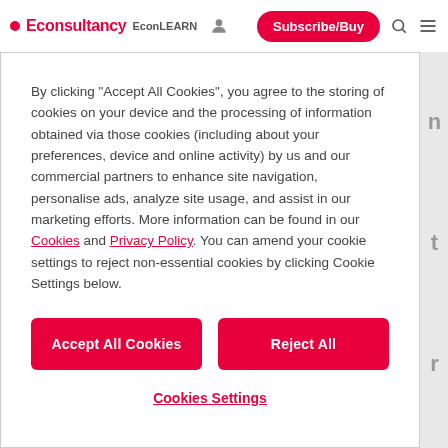Econsultancy EconLEARN Subscribe/Buy
By clicking "Accept All Cookies", you agree to the storing of cookies on your device and the processing of information obtained via those cookies (including about your preferences, device and online activity) by us and our commercial partners to enhance site navigation, personalise ads, analyze site usage, and assist in our marketing efforts. More information can be found in our Cookies and Privacy Policy. You can amend your cookie settings to reject non-essential cookies by clicking Cookie Settings below.
Accept All Cookies
Reject All
Cookies Settings